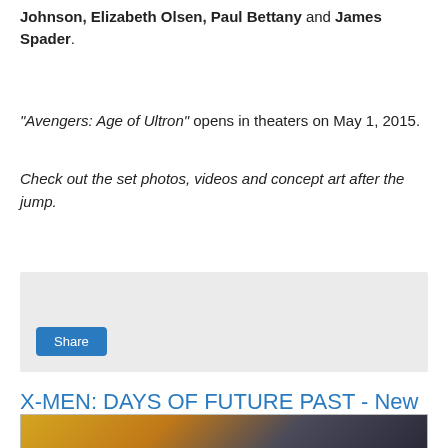Johnson, Elizabeth Olsen, Paul Bettany and James Spader.
"Avengers: Age of Ultron" opens in theaters on May 1, 2015.
Check out the set photos, videos and concept art after the jump.
[Figure (other): Share button widget on grey background]
X-MEN: DAYS OF FUTURE PAST - New Trailers, Poster & TV Spot
[Figure (photo): Promotional image for X-Men: Days of Future Past showing a character with spiky hair against a yellow/blue background]